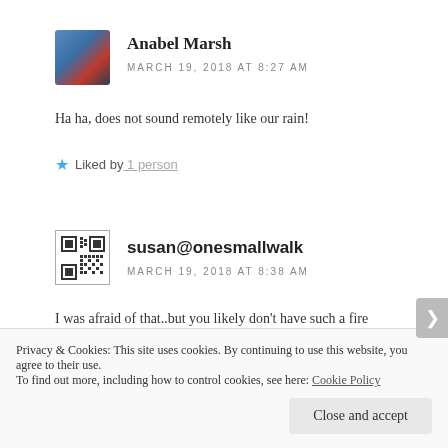[Figure (photo): Avatar photo of Anabel Marsh, person in blue jacket]
Anabel Marsh
MARCH 19, 2018 AT 8:27 AM
Ha ha, does not sound remotely like our rain!
Liked by 1 person
[Figure (other): QR code avatar for susan@onesmallwalk]
susan@onesmallwalk
MARCH 19, 2018 AT 8:38 AM
I was afraid of that..but you likely don't have such a fire
Privacy & Cookies: This site uses cookies. By continuing to use this website, you agree to their use.
To find out more, including how to control cookies, see here: Cookie Policy
Close and accept